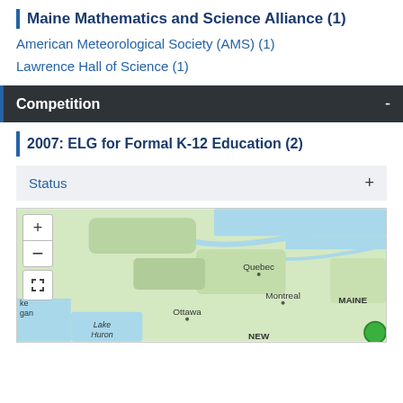Maine Mathematics and Science Alliance (1)
American Meteorological Society (AMS) (1)
Lawrence Hall of Science (1)
Competition
2007: ELG for Formal K-12 Education (2)
Status
[Figure (map): Interactive map showing northeastern North America including Quebec, Montreal, Ottawa, Lake Huron, Maine, and New England area with zoom controls and fullscreen button.]